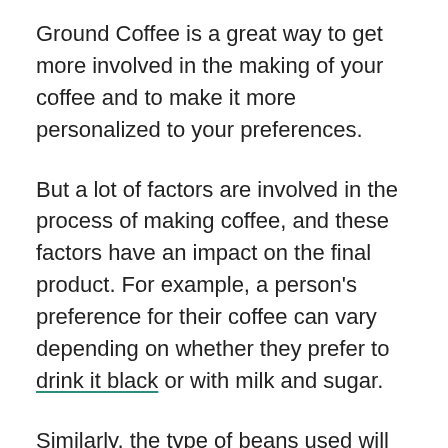Ground Coffee is a great way to get more involved in the making of your coffee and to make it more personalized to your preferences.
But a lot of factors are involved in the process of making coffee, and these factors have an impact on the final product. For example, a person's preference for their coffee can vary depending on whether they prefer to drink it black or with milk and sugar.
Similarly, the type of beans used will have an impact on the flavour and caffeine content of the coffee. Another thing to note is that